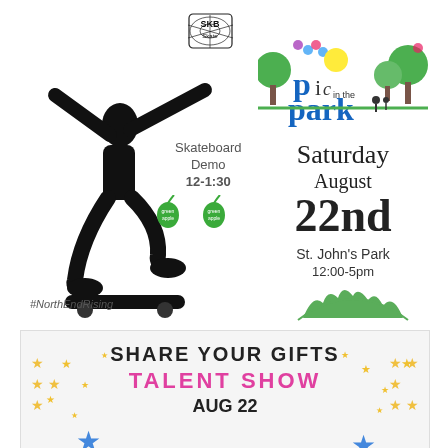[Figure (illustration): SKB Skate logo at top center — small square logo with spider web design and 'SKB Skate' text]
[Figure (illustration): Black silhouette of a skateboarder doing a trick, arms outstretched, on the left side of the top flyer]
Skateboard Demo 12-1:30
[Figure (logo): Two green apple logos side by side (Green Apple brand)]
[Figure (illustration): Picnic in the Park colorful logo with trees, flowers, sun, and people in the park]
Saturday August 22nd
St. John's Park
12:00-5pm
[Figure (logo): NECRC North End Community Renewal Corp logo with green city skyline arc above the letters NECRC]
#NorthEndRising
[Figure (illustration): Bottom flyer for Share Your Gifts Talent Show on Aug 22, handwritten style with yellow and blue stars decoration]
SHARE YOUR GIFTS
TALENT SHOW
AUG 22